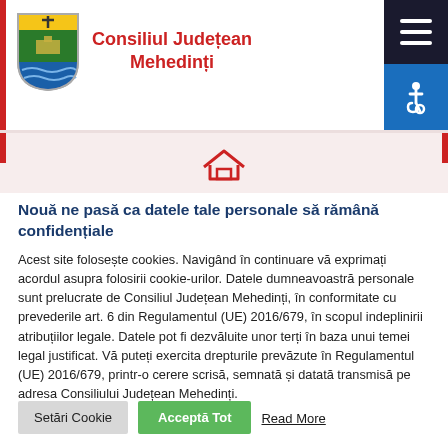Consiliul Județean Mehedinți
[Figure (logo): Coat of arms shield logo of Consiliul Județean Mehedinți, with blue/green/yellow heraldic design]
Nouă ne pasă ca datele tale personale să rămână confidențiale
Acest site folosește cookies. Navigând în continuare vă exprimați acordul asupra folosirii cookie-urilor. Datele dumneavoastră personale sunt prelucrate de Consiliul Județean Mehedinți, în conformitate cu prevederile art. 6 din Regulamentul (UE) 2016/679, în scopul indeplinirii atribuțiilor legale. Datele pot fi dezvăluite unor terți în baza unui temei legal justificat. Vă puteți exercita drepturile prevăzute în Regulamentul (UE) 2016/679, printr-o cerere scrisă, semnată și datată transmisă pe adresa Consiliului Județean Mehedinți.
Setări Cookie
Acceptă Tot
Read More